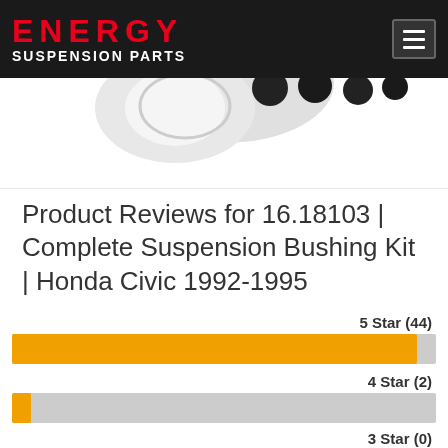ENERGY SUSPENSION PARTS
[Figure (photo): Partial view of suspension bushing kit parts (black rubber bushings) on white background]
Product Reviews for 16.18103 | Complete Suspension Bushing Kit | Honda Civic 1992-1995
[Figure (bar-chart): Star ratings]